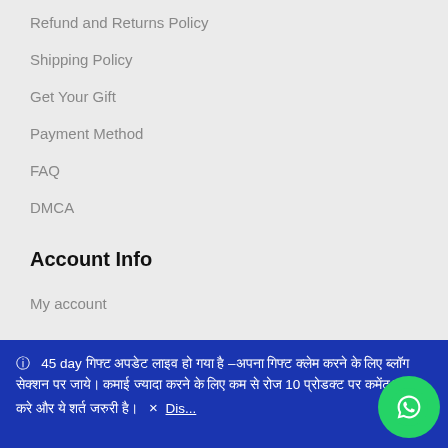Refund and Returns Policy
Shipping Policy
Get Your Gift
Payment Method
FAQ
DMCA
Account Info
My account
ⓘ  45 day गिफ्ट अपडेट लाइव हो गया है –अपना गिफ्ट क्लेम करने के लिए ब्लॉग सेक्शन पर जाये। कमाई ज्यादा करने के लिए कम से रोज 10 प्रोडक्ट पर कमेंट जरूर करे और ये शर्त जरुरी है।  × Dis...